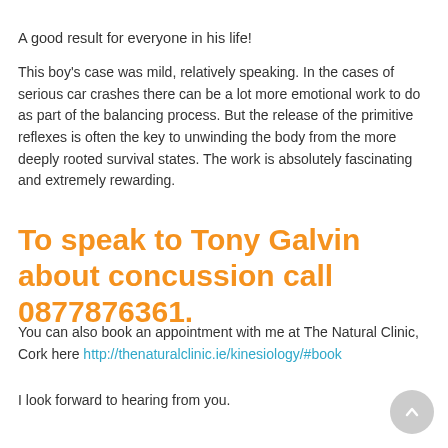A good result for everyone in his life!
This boy's case was mild, relatively speaking. In the cases of serious car crashes there can be a lot more emotional work to do as part of the balancing process. But the release of the primitive reflexes is often the key to unwinding the body from the more deeply rooted survival states. The work is absolutely fascinating and extremely rewarding.
To speak to Tony Galvin about concussion call 0877876361.
You can also book an appointment with me at The Natural Clinic, Cork here http://thenaturalclinic.ie/kinesiology/#book
I look forward to hearing from you.